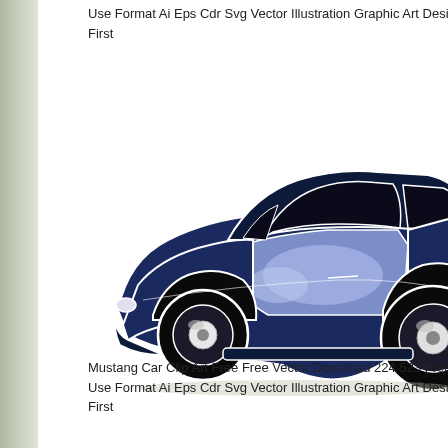Use Format Ai Eps Cdr Svg Vector Illustration Graphic Art Desi First
[Figure (illustration): Vector illustration of a classic Mustang car in dark navy blue and light blue tones with white outlines, side profile view showing two wheels, windows, and car body details]
Mustang Car Clip Art Free Free Vector Download 224 523 Free Use Format Ai Eps Cdr Svg Vector Illustration Graphic Art Desi First